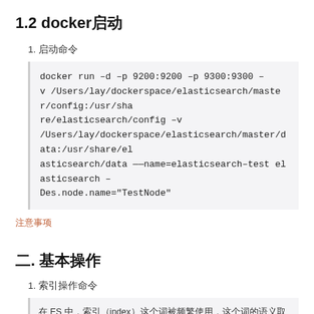1.2 docker启动
1. 启动命令
docker run –d –p 9200:9200 –p 9300:9300 –v /Users/lay/dockerspace/elasticsearch/master/config:/usr/share/elasticsearch/config –v /Users/lay/dockerspace/elasticsearch/master/data:/usr/share/elasticsearch/data ——name=elasticsearch–test elasticsearch –Des.node.name="TestNode"
注意事项
二. 基本操作
1. 索引操作命令
在 ES 中，索引（index）这个词被频繁使用，这个词的语义取决于上下文，相关的含义：作为名词时 (index) 类似于数据库中 indices 与 indexes 中